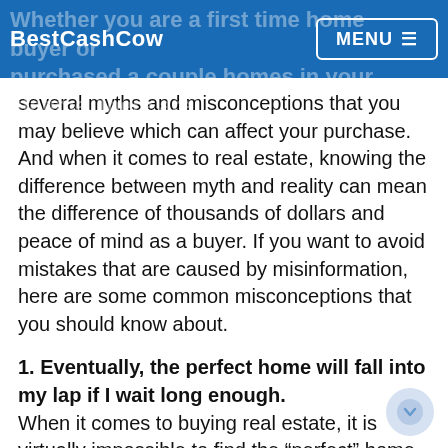BestCashCow | MENU
Whether you are a first time home buyer or have purchased a couple homes in your lifetime, there are several myths and misconceptions that you may believe which can affect your purchase. And when it comes to real estate, knowing the difference between myth and reality can mean the difference of thousands of dollars and peace of mind as a buyer. If you want to avoid mistakes that are caused by misinformation, here are some common misconceptions that you should know about.
1. Eventually, the perfect home will fall into my lap if I wait long enough.
When it comes to buying real estate, it is virtually impossible to find the “perfect” home. That’s because the perfect home simply does not exist. Even homes that are brand new have things wrong with them that you may need to fix. It’s much better and more